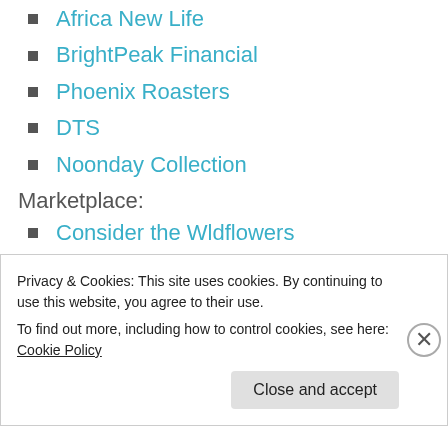Africa New Life
BrightPeak Financial
Phoenix Roasters
DTS
Noonday Collection
Marketplace:
Consider the Wldflowers
The Giving Keys
May Designs
Go Rings
JOYN
Privacy & Cookies: This site uses cookies. By continuing to use this website, you agree to their use.
To find out more, including how to control cookies, see here: Cookie Policy
Close and accept